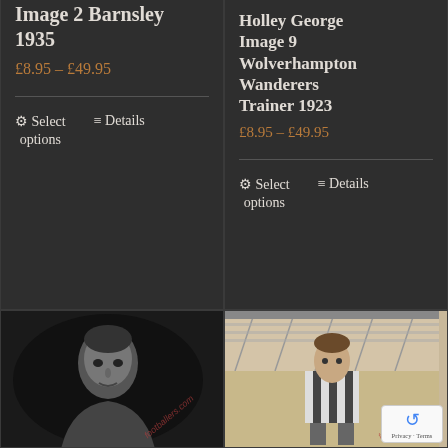Image 2 Barnsley 1935
£8.95 – £49.95
Select options   Details
Holley George Image 9 Wolverhampton Wanderers Trainer 1923
£8.95 – £49.95
Select options   Details
[Figure (photo): Black and white oval portrait photo of a footballer, with a red watermark overlay reading 'footballers.com']
[Figure (photo): Sepia/vintage photo of a footballer in striped kit standing in front of stadium stands, with a red watermark overlay]